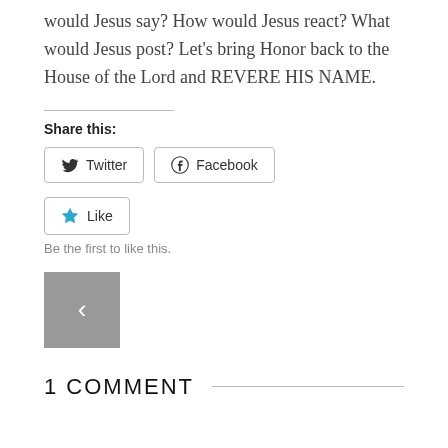would Jesus say? How would Jesus react? What would Jesus post? Let's bring Honor back to the House of the Lord and REVERE HIS NAME.
Share this:
[Figure (other): Twitter and Facebook share buttons]
[Figure (other): Like button with star icon]
Be the first to like this.
[Figure (other): Previous post navigation button with left chevron]
1 COMMENT